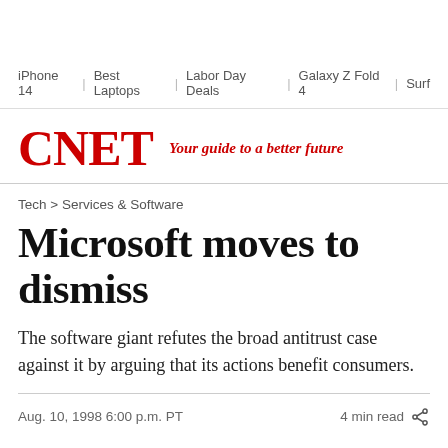iPhone 14 | Best Laptops | Labor Day Deals | Galaxy Z Fold 4 | Surf
[Figure (logo): CNET logo in red bold serif font with tagline 'Your guide to a better future' in red italic]
Tech > Services & Software
Microsoft moves to dismiss
The software giant refutes the broad antitrust case against it by arguing that its actions benefit consumers.
Aug. 10, 1998 6:00 p.m. PT    4 min read